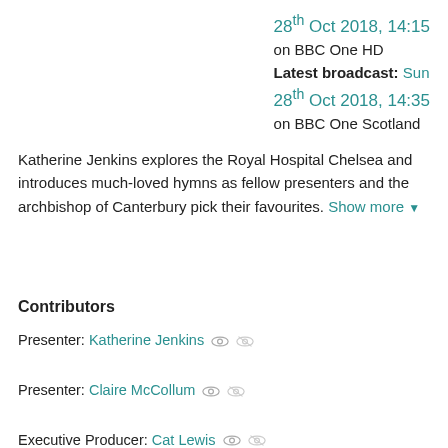28th Oct 2018, 14:15 on BBC One HD Latest broadcast: Sun 28th Oct 2018, 14:35 on BBC One Scotland
Katherine Jenkins explores the Royal Hospital Chelsea and introduces much-loved hymns as fellow presenters and the archbishop of Canterbury pick their favourites. Show more
Contributors
Presenter: Katherine Jenkins
Presenter: Claire McCollum
Executive Producer: Cat Lewis
Executive Producer: Emyr Afan
Producer: David Waters
Series Producer: Matthew Napier
Production Company: Avanti Media